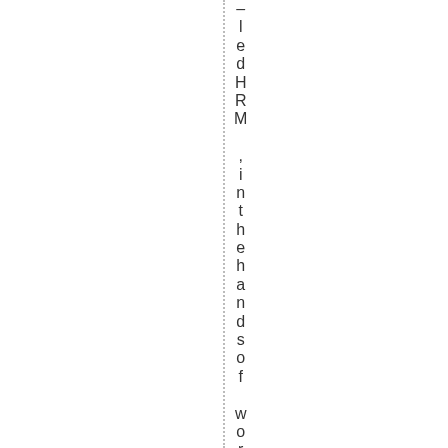ledHRM ,inthehandsofworldclass H